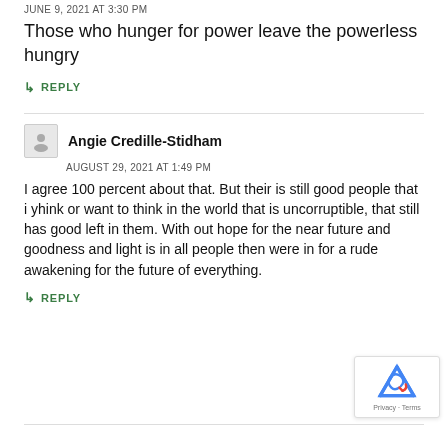JUNE 9, 2021 AT 3:30 PM
Those who hunger for power leave the powerless hungry
↳ REPLY
Angie Credille-Stidham
AUGUST 29, 2021 AT 1:49 PM
I agree 100 percent about that. But their is still good people that i yhink or want to think in the world that is uncorruptible, that still has good left in them. With out hope for the near future and goodness and light is in all people then were in for a rude awakening for the future of everything.
↳ REPLY